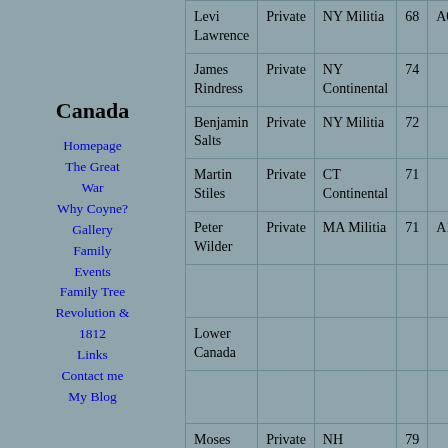Canada
Homepage
The Great War
Why Coyne?
Gallery
Family
Events
Family Tree
Revolution & 1812
Links
Contact me
My Blog
| Name | Rank | Service | Age | Pension# |
| --- | --- | --- | --- | --- |
| Levi Lawrence | Private | NY Militia | 68 | A067239 |
| James Rindress | Private | NY Continental | 74 |  |
| Benjamin Salts | Private | NY Militia | 72 |  |
| Martin Stiles | Private | CT Continental | 71 |  |
| Peter Wilder | Private | MA Militia | 71 | A126613 |
|  |  |  |  |  |
| Lower Canada |  |  |  |  |
|  |  |  |  |  |
| Moses Welch | Private | NH Continental | 79 |  |